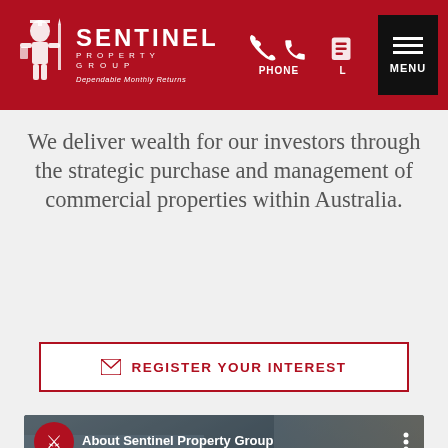[Figure (logo): Sentinel Property Group logo with soldier/warrior icon and tagline 'Dependable Monthly Returns' on red header bar]
We deliver wealth for our investors through the strategic purchase and management of commercial properties within Australia.
REGISTER YOUR INTEREST
[Figure (screenshot): Video thumbnail showing a man in a suit with title 'About Sentinel Property Group' and a play button overlay]